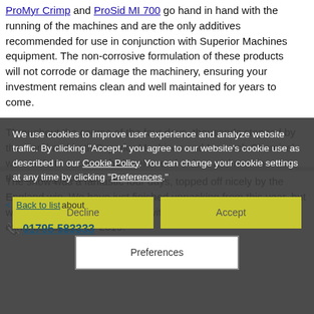Perstorp range of performance agriculture and feed products ProMyr Crimp and ProSid MI 700 go hand in hand with the running of the machines and are the only additives recommended for use in conjunction with Superior Machines equipment. The non-corrosive formulation of these products will not corrode or damage the machinery, ensuring your investment remains clean and well maintained for years to come.
Throughout the course of the four days, thousands stopped by the stand and both Superior Machines and Monarch Chemicals were able to secure a high volume of orders and meetings for the coming months.
The show was a fantastic four days, topped off nicely by the England win. We have just finished unpacking from this year, but we're already excited for 2019 with plans for a bigger and better exhibition space for 2019.
We use cookies to improve user experience and analyze website traffic. By clicking "Accept," you agree to our website's cookie use as described in our Cookie Policy. You can change your cookie settings at any time by clicking "Preferences."
< Back to list about
01795 583333